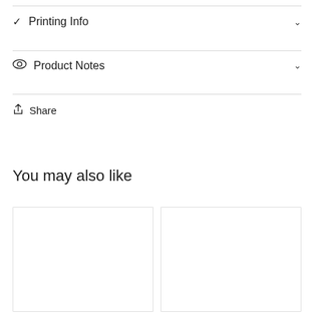Printing Info
Product Notes
Share
You may also like
[Figure (other): Two blank white product image thumbnail placeholders side by side]